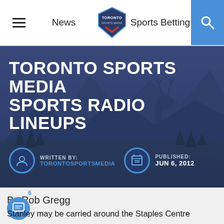News | Toronto Sports Media | Sports Betting
[Figure (screenshot): Hero banner with elk and mountain background, dark blue overlay, showing article title and metadata]
TORONTO SPORTS MEDIA SPORTS RADIO LINEUPS
WRITTEN BY: TORONTOSPORTSMEDIA
PUBLISHED: JUN 6, 2012
By Rob Gregg
Stanley may be carried around the Staples Centre